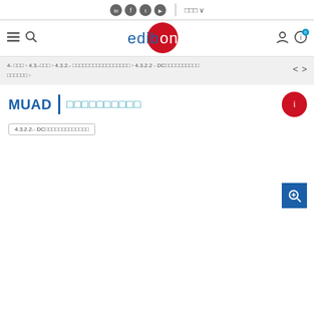Social icons: LinkedIn, Facebook, Twitter, YouTube | Language selector
[Figure (logo): Edibon logo with red circle and blue text]
4- 製品 > 4.3.-電気 > 4.3.2.- 電気回路とエレクトロニクス > 4.3.2.2 - DC電気回路とエレクトロニクス 製品 >
MUAD | 製品説明タイトル
4.3.2.2.- DC電気回路とエレクトロニクス